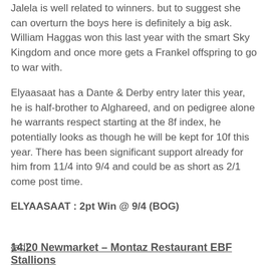Jalela is well related to winners. but to suggest she can overturn the boys here is definitely a big ask. William Haggas won this last year with the smart Sky Kingdom and once more gets a Frankel offspring to go to war with.
Elyaasaat has a Dante & Derby entry later this year, he is half-brother to Alghareed, and on pedigree alone he warrants respect starting at the 8f index, he potentially looks as though he will be kept for 10f this year. There has been significant support already for him from 11/4 into 9/4 and could be as short as 2/1 come post time.
ELYAASAAT : 2pt Win @ 9/4 (BOG)
{ad}
14.20 Newmarket – Montaz Restaurant EBF Stallions